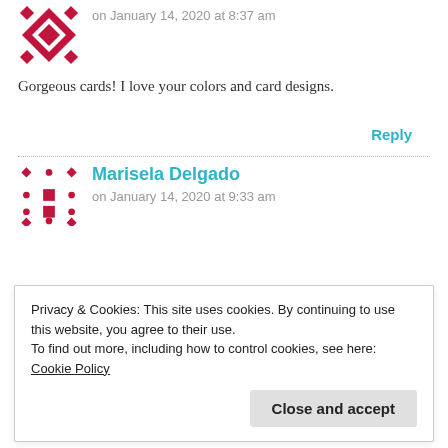[Figure (illustration): Red geometric avatar icon (quilt-like pattern) for first commenter]
on January 14, 2020 at 8:37 am
Gorgeous cards! I love your colors and card designs.
Reply
[Figure (illustration): Red geometric avatar icon (grid pattern) for commenter Marisela Delgado]
Marisela Delgado
on January 14, 2020 at 9:33 am
so pretty and such lovely colors
Reply
Privacy & Cookies: This site uses cookies. By continuing to use this website, you agree to their use.
To find out more, including how to control cookies, see here: Cookie Policy
Close and accept